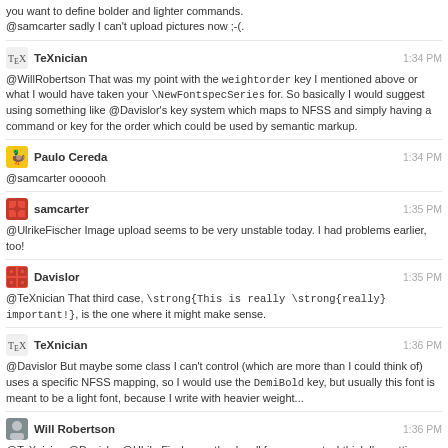you want to define bolder and lighter commands.
@samcarter sadly I can't upload pictures now ;-(.
TeXnician 1:34 PM
@WillRobertson That was my point with the weightorder key I mentioned above or what I would have taken your \NewFontspecSeries for. So basically I would suggest using something like @Davislor's key system which maps to NFSS and simply having a command or key for the order which could be used by semantic markup.
Paulo Cereda 1:34 PM
@samcarter oooooh
samcarter 1:35 PM
@UlrikeFischer Image upload seems to be very unstable today. I had problems earlier, too!
Davislor 1:35 PM
@TeXnician That third case, \strong{This is really \strong{really} important!}, is the one where it might make sense.
TeXnician 1:36 PM
@Davislor But maybe some class I can't control (which are more than I could think of) uses a specific NFSS mapping, so I would use the DemiBold key, but usually this font is meant to be a light font, because I write with heavier weight...
Will Robertson 1:36 PM
@TeXnician @Davislor @UlrikeFischer — thanks all for comments, I think I'm getting a decent idea about how some of the interfaces here could work. Have to run now — good night!